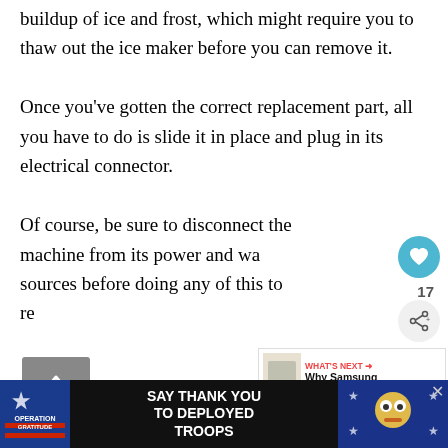buildup of ice and frost, which might require you to thaw out the ice maker before you can remove it.
Once you've gotten the correct replacement part, all you have to do is slide it in place and plug in its electrical connector.
Of course, be sure to disconnect the machine from its power and water sources before doing any of this to reduce...
[Figure (screenshot): Social interaction buttons: heart/like button (teal circle), count '17', share button]
[Figure (screenshot): What's Next promotional box showing Why Samsung Fridge Is... with small image]
[Figure (screenshot): Gray scroll-up / back button on left side]
[Figure (screenshot): Advertisement banner: Operation Gratitude - SAY THANK YOU TO DEPLOYED TROOPS with cartoon mascot image]